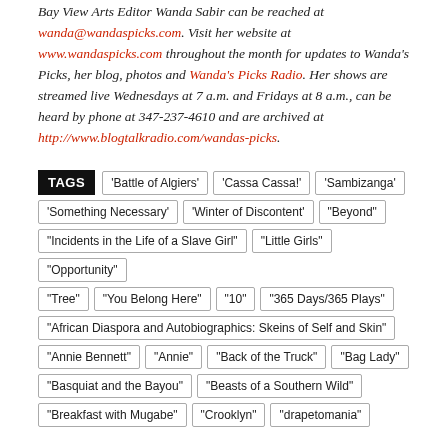Bay View Arts Editor Wanda Sabir can be reached at wanda@wandaspicks.com. Visit her website at www.wandaspicks.com throughout the month for updates to Wanda's Picks, her blog, photos and Wanda's Picks Radio. Her shows are streamed live Wednesdays at 7 a.m. and Fridays at 8 a.m., can be heard by phone at 347-237-4610 and are archived at http://www.blogtalkradio.com/wandas-picks.
TAGS: 'Battle of Algiers' 'Cassa Cassa!' 'Sambizanga' 'Something Necessary' 'Winter of Discontent' "Beyond" "Incidents in the Life of a Slave Girl" "Little Girls" "Opportunity" "Tree" "You Belong Here" "10" "365 Days/365 Plays" "African Diaspora and Autobiographics: Skeins of Self and Skin" "Annie Bennett" "Annie" "Back of the Truck" "Bag Lady" "Basquiat and the Bayou" "Beasts of a Southern Wild" "Breakfast with Mugabe" "Crooklyn" "drapetomania"